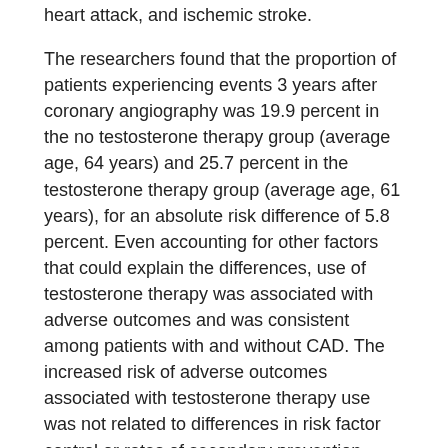heart attack, and ischemic stroke.
The researchers found that the proportion of patients experiencing events 3 years after coronary angiography was 19.9 percent in the no testosterone therapy group (average age, 64 years) and 25.7 percent in the testosterone therapy group (average age, 61 years), for an absolute risk difference of 5.8 percent. Even accounting for other factors that could explain the differences, use of testosterone therapy was associated with adverse outcomes and was consistent among patients with and without CAD. The increased risk of adverse outcomes associated with testosterone therapy use was not related to differences in risk factor control or rates of secondary prevention medication use because patients in both groups had similar blood pressure, low-density lipoprotein levels, and use of secondary prevention medications.
“These findings raise concerns about the potential safety of testosterone therapy,” the authors write. “Future studies including randomized controlled trials are needed to properly characterize the potential risks of testosterone therapy in men with comorbidities.”